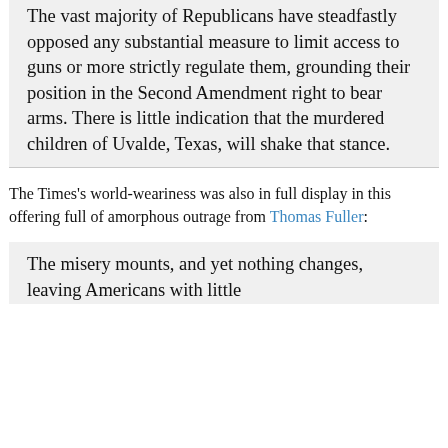The vast majority of Republicans have steadfastly opposed any substantial measure to limit access to guns or more strictly regulate them, grounding their position in the Second Amendment right to bear arms. There is little indication that the murdered children of Uvalde, Texas, will shake that stance.
The Times's world-weariness was also in full display in this offering full of amorphous outrage from Thomas Fuller:
The misery mounts, and yet nothing changes, leaving Americans with little